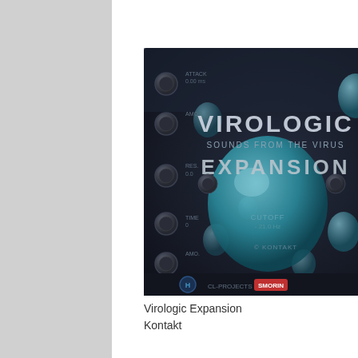$33.99
[Figure (illustration): Virologic Expansion for Kontakt - product artwork showing a synthesizer/plugin interface with knobs, droplets, and text reading VIROLOGIC SOUNDS FROM THE VIRUS EXPANSION, © KONTAKT, CL-PROJECTS]
Virologic Expansion
Kontakt
$23.99